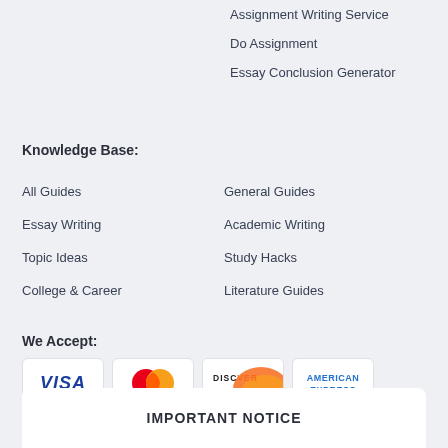Assignment Writing Service
Do Assignment
Essay Conclusion Generator
Knowledge Base:
All Guides
General Guides
Essay Writing
Academic Writing
Topic Ideas
Study Hacks
College & Career
Literature Guides
We Accept:
[Figure (illustration): Payment method icons: VISA, MasterCard, DISCOVER, AMERICAN EXPRESS]
IMPORTANT NOTICE